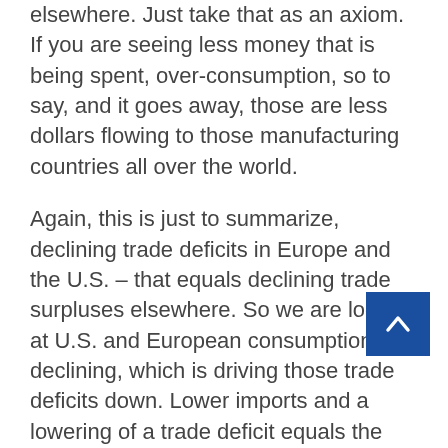elsewhere. Just take that as an axiom. If you are seeing less money that is being spent, over-consumption, so to say, and it goes away, those are less dollars flowing to those manufacturing countries all over the world.
Again, this is just to summarize, declining trade deficits in Europe and the U.S. – that equals declining trade surpluses elsewhere. So we are looking at U.S. and European consumption declining, which is driving those trade deficits down. Lower imports and a lowering of a trade deficit equals the lowering of trade surpluses with trade partners in Asia, equals no ready cash for Treasury purchases. We have a problem because we continue to spend like drunken sailors and we need someone to finance our current deficits, let alone our outstanding stock of debt.